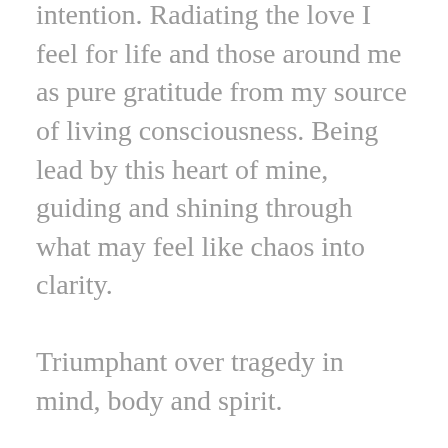intention. Radiating the love I feel for life and those around me as pure gratitude from my source of living consciousness. Being lead by this heart of mine, guiding and shining through what may feel like chaos into clarity.
Triumphant over tragedy in mind, body and spirit.
As 2013 draws to an end, I savor the moments with family and friends. I am in complete awe of the universe and its manifestations.